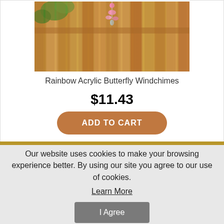[Figure (photo): Product photo of Rainbow Acrylic Butterfly Windchimes hanging against a wooden fence background with green plants visible]
Rainbow Acrylic Butterfly Windchimes
$11.43
ADD TO CART
Our website uses cookies to make your browsing experience better. By using our site you agree to our use of cookies.
Learn More
I Agree